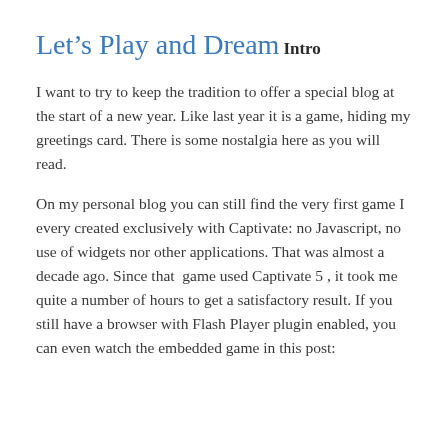Let's Play and Dream
Intro
I want to try to keep the tradition to offer a special blog at the start of a new year. Like last year it is a game, hiding my greetings card. There is some nostalgia here as you will read.
On my personal blog you can still find the very first game I every created exclusively with Captivate: no Javascript, no use of widgets nor other applications. That was almost a decade ago. Since that  game used Captivate 5 , it took me quite a number of hours to get a satisfactory result. If you still have a browser with Flash Player plugin enabled, you can even watch the embedded game in this post: